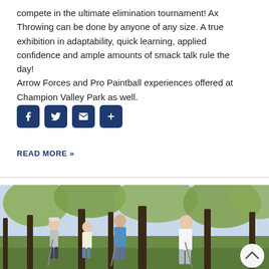compete in the ultimate elimination tournament! Ax Throwing can be done by anyone of any size. A true exhibition in adaptability, quick learning, applied confidence and ample amounts of smack talk rule the day!
Arrow Forces and Pro Paintball experiences offered at Champion Valley Park as well.
[Figure (other): Social sharing icons: Facebook, Twitter, Email, and a plus/share button, displayed as dark navy rounded square icons]
READ MORE »
[Figure (photo): Outdoor photo of people walking in a park with tall trees. Shows adults and children walking on a path, dressed in casual clothes, with trees in early spring leaf.]